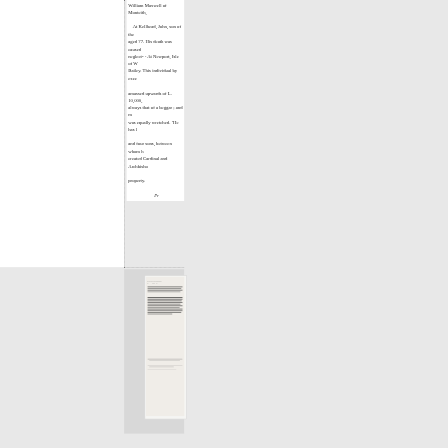William Maxwell of Monteith,

At Kellhead, John, son of the aged 77. His death was caused neglect- - At Newport, Isle of W Bailey. This individual by exce amassed upwards of L. 10,000, always that of a beggar ; and m was equally wretched. 'He has l and four sons, between whom h created Cardinal and Archbisho property.

Pr
[Figure (photo): A scanned page or book image visible in the lower right portion of the page, showing dense printed text, partially visible.]